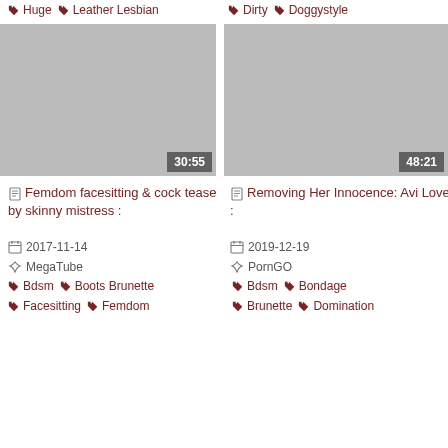Huge  Leather Lesbian
Dirty  Doggystyle
[Figure (other): Video thumbnail placeholder, grey, duration badge 30:55]
[Figure (other): Video thumbnail placeholder, grey, duration badge 48:21]
Femdom facesitting & cock tease by skinny mistress :
Removing Her Innocence: Avi Love :
2017-11-14
2019-12-19
MegaTube
PornGO
Bdsm  Boots Brunette
Facesitting  Femdom
Bdsm  Bondage
Brunette  Domination